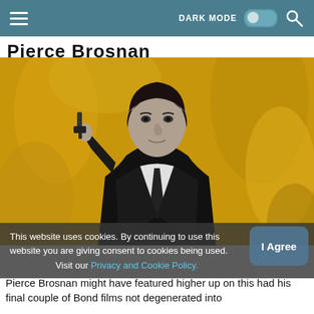Navigation bar with hamburger menu, DARK MODE toggle, and search icon
Pierce Brosnan (partially visible)
[Figure (photo): Black and white photo of Pierce Brosnan in a suit holding a gun, against a yellow/golden textured background]
This website uses cookies. By continuing to use this website you are giving consent to cookies being used. Visit our Privacy and Cookie Policy.
Pierce Brosnan might have featured higher up on this had his final couple of Bond films not degenerated into